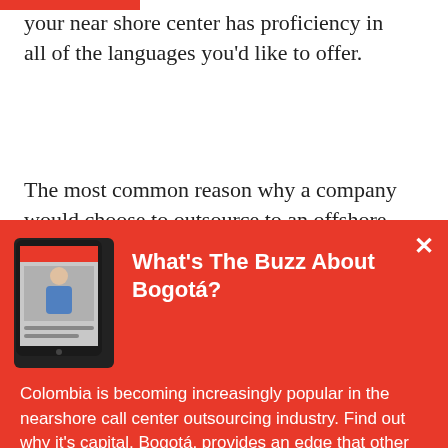…ge is more diverse you'll want to verify that your near shore center has proficiency in all of the languages you'd like to offer.
The most common reason why a company would choose to outsource to an offshore or near shore center as opposed to onshore would be
[Figure (screenshot): Popup overlay on red background with tablet thumbnail showing a guide cover, title 'What's The Buzz About Bogotá?', description text about Colombia nearshore call center outsourcing, a 'Get The Guide' button, and a blue 'Chat' button.]